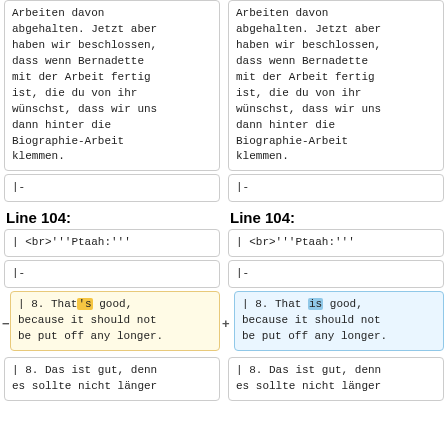Arbeiten davon abgehalten. Jetzt aber haben wir beschlossen, dass wenn Bernadette mit der Arbeit fertig ist, die du von ihr wünschst, dass wir uns dann hinter die Biographie-Arbeit klemmen.
Arbeiten davon abgehalten. Jetzt aber haben wir beschlossen, dass wenn Bernadette mit der Arbeit fertig ist, die du von ihr wünschst, dass wir uns dann hinter die Biographie-Arbeit klemmen.
|-
|-
Line 104:
Line 104:
| <br>'''Ptaah:'''
| <br>'''Ptaah:'''
|-
|-
| 8. That 's good, because it should not be put off any longer.
| 8. That is good, because it should not be put off any longer.
| 8. Das ist gut, denn es sollte nicht länger
| 8. Das ist gut, denn es sollte nicht länger